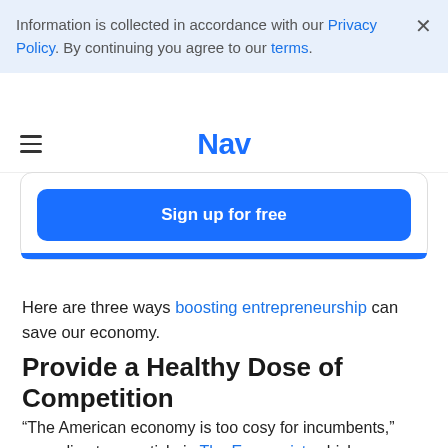Information is collected in accordance with our Privacy Policy. By continuing you agree to our terms.
Nav
Sign up for free
Here are three ways boosting entrepreneurship can save our economy.
Provide a Healthy Dose of Competition
“The American economy is too cosy for incumbents,” according to an article in The Economist, which warns that